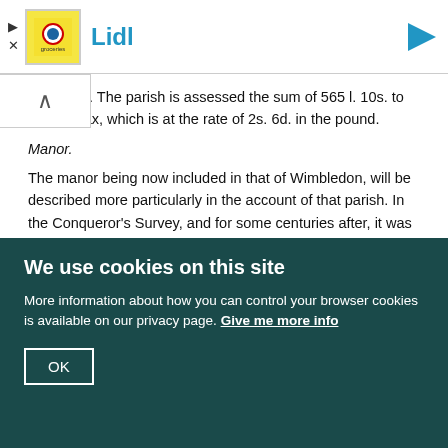[Figure (other): Advertisement banner for Lidl with logo, brand name in blue, and blue arrow icon. Close buttons (play and X) on left side.]
deep clay. The parish is assessed the sum of 565 l. 10s. to the landtax, which is at the rate of 2s. 6d. in the pound.
Manor.
The manor being now included in that of Wimbledon, will be described more particularly in the account of that parish. In the Conqueror's Survey, and for some centuries after, it was called the Manor of Mortlake, the manerial residence being at that place. Wimbledon is not mentioned in Doomsday Book; in subsequent records it is described as a grange or farm belonging to Mortlake (fn. 4). It will hereafter be shewn that as a parish it was the more ancient of the two.
Archbishops of Canterbury who have resided at their manor house.
During the whole time that this manor belonged to the see of Canterbury, the manor-house was at Mortlake, being occasionally the residence of the archbishops, most of whom have dated some of their public acts from that
We use cookies on this site
More information about how you can control your browser cookies is available on our privacy page. Give me more info
OK